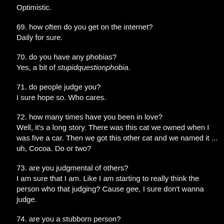Optimistic.
69. how often do you get on the internet?
Daily for sure.
70. do you have any phobias?
Yes, a bit of stupidquestionphobia.
71. do people judge you?
I sure hope so. Who cares.
72. how many times have you been in love?
Well, it's a long story. There was this cat we owned when I was five a car. Then we got this other cat and we named it ... uh, Cocoa. Do or two?
73. are you judgmental of others?
I am sure that I am. Like I am starting to really think the person who that judging? Cause gee, I sure don't wanna judge.
74. are you a stubborn person?
I can be if I need to be.